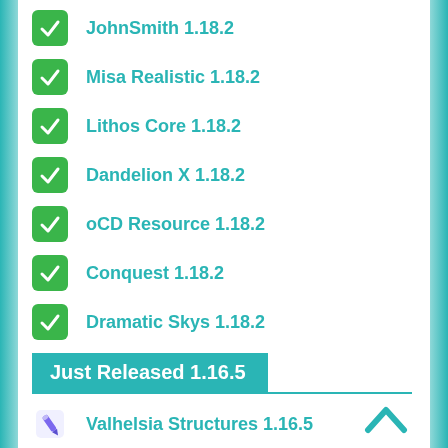JohnSmith 1.18.2
Misa Realistic 1.18.2
Lithos Core 1.18.2
Dandelion X 1.18.2
oCD Resource 1.18.2
Conquest 1.18.2
Dramatic Skys 1.18.2
Just Released 1.16.5
Valhelsia Structures 1.16.5
Colytra 1.16.5
Curio of Undying 1.16.5